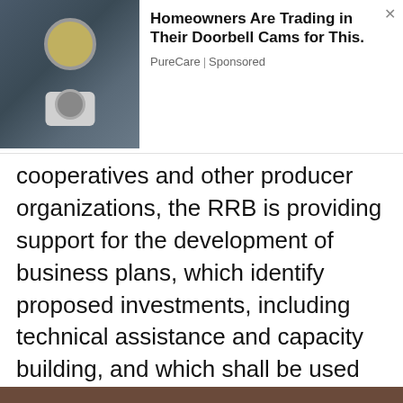[Figure (screenshot): Advertisement banner showing a security camera mounted on a wall with a light fixture above it. Text reads: 'Homeowners Are Trading in Their Doorbell Cams for This.' Source: PureCare | Sponsored. A close (×) button appears in the top right.]
cooperatives and other producer organizations, the RRB is providing support for the development of business plans, which identify proposed investments, including technical assistance and capacity building, and which shall be used as the basis for accessing support from the Matching Grant Fund. The program also provides funding to producer organization communities in areas such as the enhancement of agricultural feeder roads so that farmers can get their goods to market more efficiently and effectively. This is the purpose of the enhancement of the Nago Bank Road which we are witnessing today.